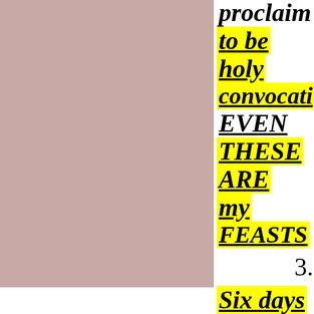[Figure (other): Pink/mauve colored rectangular block occupying the left portion of the page]
proclaim to be holy convocations EVEN THESE ARE my FEASTS 3. Six days
3.
Six days